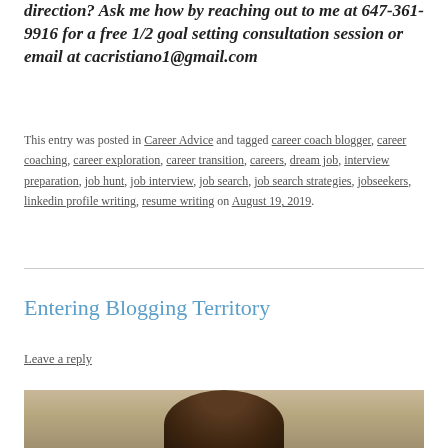direction? Ask me how by reaching out to me at 647-361-9916 for a free 1/2 goal setting consultation session or email at cacristiano1@gmail.com
This entry was posted in Career Advice and tagged career coach blogger, career coaching, career exploration, career transition, careers, dream job, interview preparation, job hunt, job interview, job search, job search strategies, jobseekers, linkedin profile writing, resume writing on August 19, 2019.
Entering Blogging Territory
Leave a reply
[Figure (photo): Partial photo of a person with dark hair, cropped at the top of the page bottom]